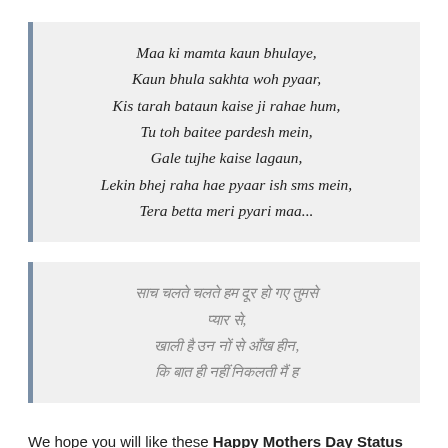Maa ki mamta kaun bhulaye,
Kaun bhula sakhta woh pyaar,
Kis tarah bataun kaise ji rahae hum,
Tu toh baitee pardesh mein,
Gale tujhe kaise lagaun,
Lekin bhej raha hae pyaar ish sms mein,
Tera betta meri pyari maa...
[Hindi text in Devanagari script - multiple lines]
We hope you will like these Happy Mothers Day Status In Hindi For WhatsApp and Facebook friends. Don't forget to